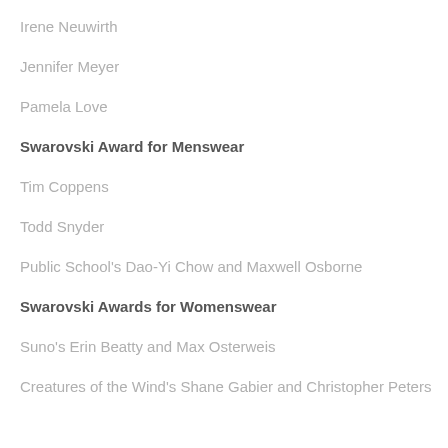Irene Neuwirth
Jennifer Meyer
Pamela Love
Swarovski Award for Menswear
Tim Coppens
Todd Snyder
Public School's Dao-Yi Chow and Maxwell Osborne
Swarovski Awards for Womenswear
Suno's Erin Beatty and Max Osterweis
Creatures of the Wind's Shane Gabier and Christopher Peters